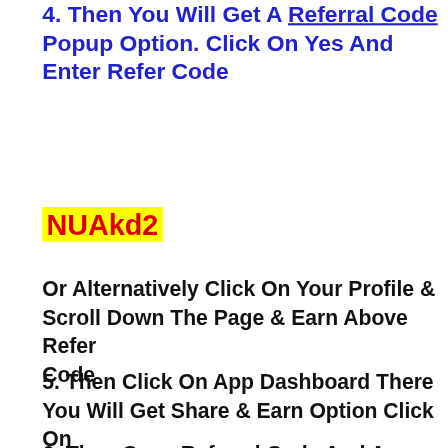4. Then You Will Get A Referral Code Popup Option. Click On Yes And Enter Refer Code
NUAkd2
Or Alternatively Click On Your Profile & Scroll Down The Page & Earn Above Refer Code
5. Then Click On App Dashboard There You Will Get Share & Earn Option Click On That
6. Then Copy Referral Code And App Downloading Link & Share With Your